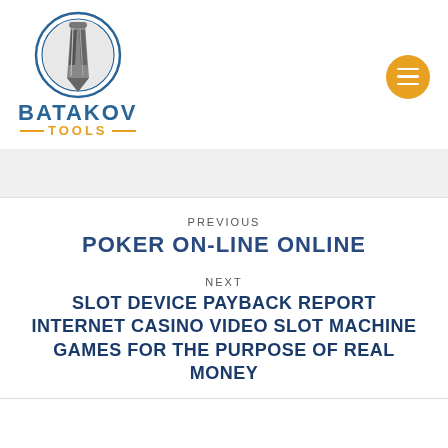[Figure (logo): Batakov Tools logo: circular drill bit icon with BATAKOV in blue bold text and TOOLS in orange with dashes on either side]
PREVIOUS
POKER ON-LINE ONLINE
NEXT
SLOT DEVICE PAYBACK REPORT INTERNET CASINO VIDEO SLOT MACHINE GAMES FOR THE PURPOSE OF REAL MONEY